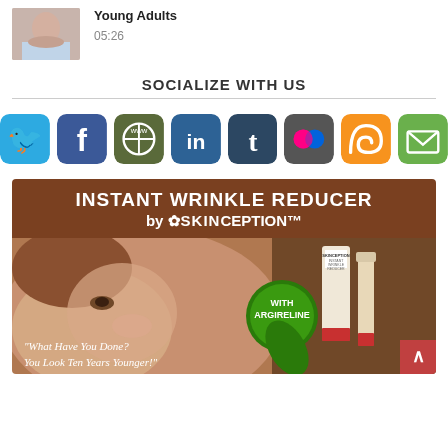[Figure (photo): Thumbnail image of a person, partially visible]
Young Adults
05:26
SOCIALIZE WITH US
[Figure (infographic): Row of social media icon buttons: Twitter, Facebook, Web, LinkedIn, Tumblr, Flickr, RSS, Email]
[Figure (photo): Advertisement for Instant Wrinkle Reducer by Skinception, featuring a woman's face, product image, green badge with Argireline, and quote 'What Have You Done? You Look Ten Years Younger!']